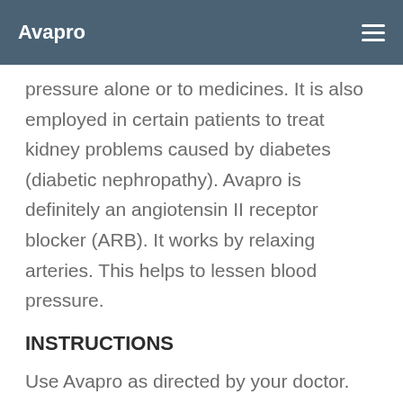Avapro
pressure alone or to medicines. It is also employed in certain patients to treat kidney problems caused by diabetes (diabetic nephropathy). Avapro is definitely an angiotensin II receptor blocker (ARB). It works by relaxing arteries. This helps to lessen blood pressure.
INSTRUCTIONS
Use Avapro as directed by your doctor.
Take Avapro by mouth with or without